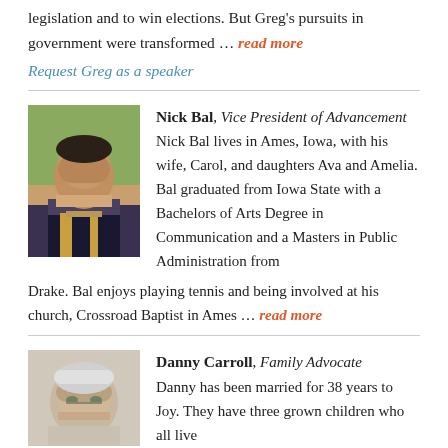This passion stemmed from the strategy necessary to pass legislation and to win elections. But Greg's pursuits in government were transformed … read more
Request Greg as a speaker
[Figure (photo): Headshot of Nick Bal, a man with short dark hair wearing a suit and tie, smiling against a leafy outdoor background.]
Nick Bal, Vice President of Advancement
Nick Bal lives in Ames, Iowa, with his wife, Carol, and daughters Ava and Amelia. Bal graduated from Iowa State with a Bachelors of Arts Degree in Communication and a Masters in Public Administration from Drake. Bal enjoys playing tennis and being involved at his church, Crossroad Baptist in Ames … read more
[Figure (photo): Headshot of Danny Carroll, an older man with grey hair and glasses, wearing a light-colored shirt.]
Danny Carroll, Family Advocate
Danny has been married for 38 years to Joy. They have three grown children who all live